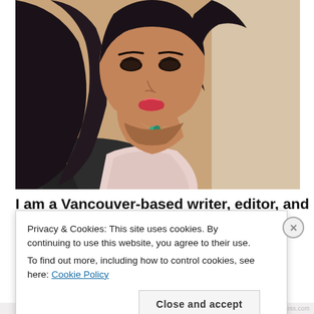[Figure (photo): Close-up portrait of a woman with dark wavy hair, wearing a black blazer over a light pink ribbed top, with a teal pendant necklace. Background is blurred warm-toned interior.]
I am a Vancouver-based writer, editor, and content
Privacy & Cookies: This site uses cookies. By continuing to use this website, you agree to their use.
To find out more, including how to control cookies, see here: Cookie Policy
Close and accept